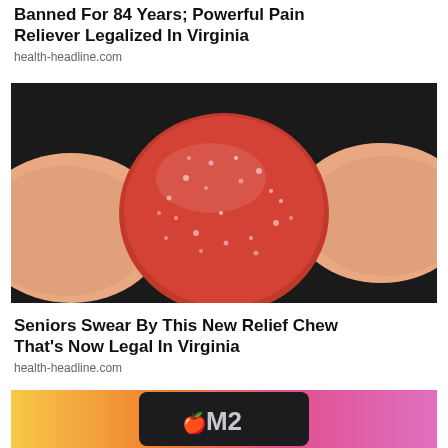Banned For 84 Years; Powerful Pain Reliever Legalized In Virginia
health-headline.com
[Figure (photo): Close-up photo of a red sugar-coated gummy chew held between two fingers against a dark background]
Seniors Swear By This New Relief Chew That's Now Legal In Virginia
health-headline.com
[Figure (photo): Apple M2 chip on a colorful gradient background with yellow, orange and pink colors]